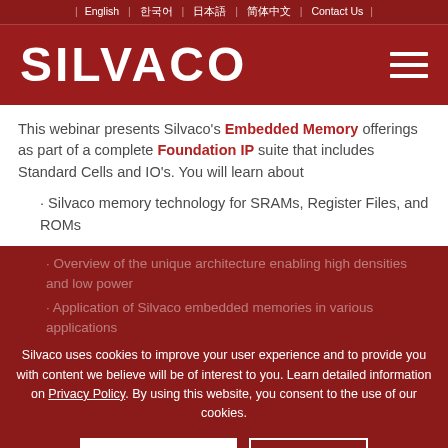English | 한국어 | 日本語 | 简体中文 | Contact Us
[Figure (logo): Silvaco logo — white bold text on dark red background with hamburger menu icon]
This webinar presents Silvaco's Embedded Memory offerings as part of a complete Foundation IP suite that includes Standard Cells and IO's. You will learn about
· Silvaco memory technology for SRAMs, Register Files, and ROMs
· Overview of the unique architecture enabling high densities and low power
· Application of Silvaco embedded memories in various applications
Silvaco uses cookies to improve your user experience and to provide you with content we believe will be of interest to you. Learn detailed information on Privacy Policy. By using this website, you consent to the use of our cookies.
Accept settings | Settings